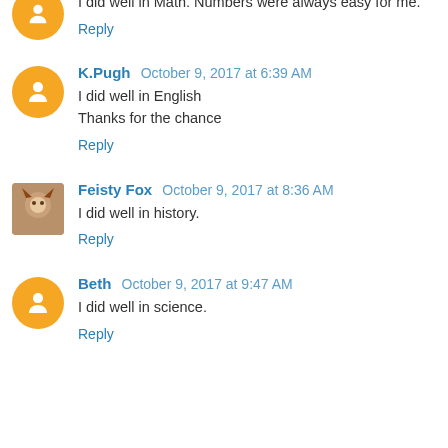I did well in Math. Numbers were always easy for me.
Reply
K.Pugh  October 9, 2017 at 6:39 AM
I did well in English
Thanks for the chance
Reply
Feisty Fox  October 9, 2017 at 8:36 AM
I did well in history.
Reply
Beth  October 9, 2017 at 9:47 AM
I did well in science.
Reply